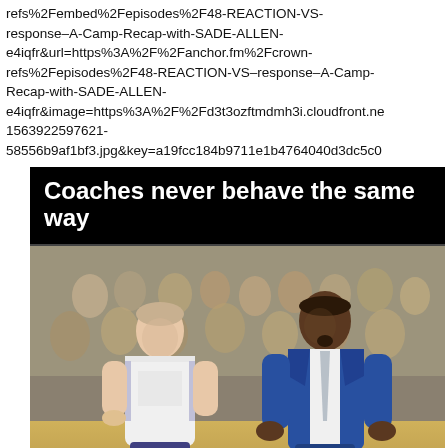refs%2Fembed%2Fepisodes%2F48-REACTION-VS-response-A-Camp-Recap-with-SADE-ALLEN-e4iqfr&url=https%3A%2F%2Fanchor.fm%2Fcrown-refs%2Fepisodes%2F48-REACTION-VS-response-A-Camp-Recap-with-SADE-ALLEN-e4iqfr&image=https%3A%2F%2Fd3t3ozftmdmh3i.cloudfront.net1563922597621-58556b9af1bf3.jpg&key=a19fcc184b9711e1b4764040d3dc5c0
[Figure (photo): A meme image with black title bar at top reading 'Coaches never behave the same way' in bold white text, and below it a photo of two men - a referee in a white Adidas jersey on the left and a coach in a blue suit on the right, appearing to have a conversation on a basketball court with a crowd in the background.]